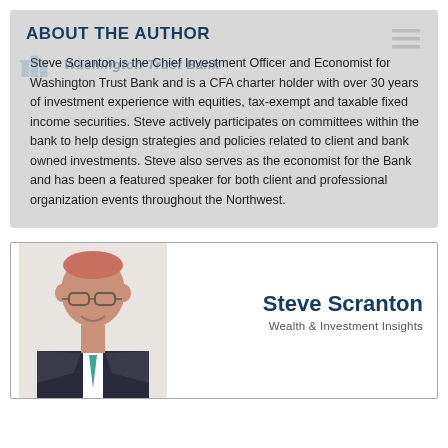ABOUT THE AUTHOR
Steve Scranton is the Chief Investment Officer and Economist for Washington Trust Bank and is a CFA charter holder with over 30 years of investment experience with equities, tax-exempt and taxable fixed income securities. Steve actively participates on committees within the bank to help design strategies and policies related to client and bank owned investments. Steve also serves as the economist for the Bank and has been a featured speaker for both client and professional organization events throughout the Northwest.
[Figure (photo): Profile card showing Steve Scranton's headshot photo on the left and his name and title 'Wealth & Investment Insights' on the right]